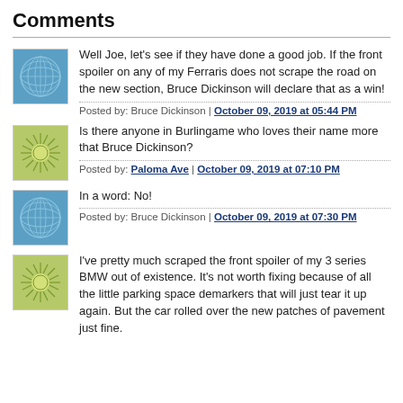Comments
Well Joe, let's see if they have done a good job. If the front spoiler on any of my Ferraris does not scrape the road on the new section, Bruce Dickinson will declare that as a win!
Posted by: Bruce Dickinson | October 09, 2019 at 05:44 PM
Is there anyone in Burlingame who loves their name more that Bruce Dickinson?
Posted by: Paloma Ave | October 09, 2019 at 07:10 PM
In a word: No!
Posted by: Bruce Dickinson | October 09, 2019 at 07:30 PM
I've pretty much scraped the front spoiler of my 3 series BMW out of existence. It's not worth fixing because of all the little parking space demarkers that will just tear it up again. But the car rolled over the new patches of pavement just fine.